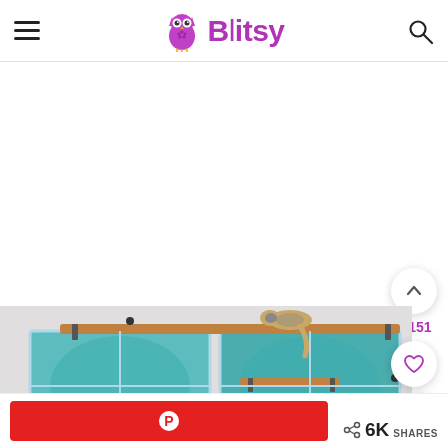Blitsy
[Figure (screenshot): Screenshot of Blitsy website showing a cat on wall-mounted shelves near windows with teal/green foliage outside. Page includes upvote button with 1,151 count, heart/like button, purple search button, Pinterest share button, and 6K shares count.]